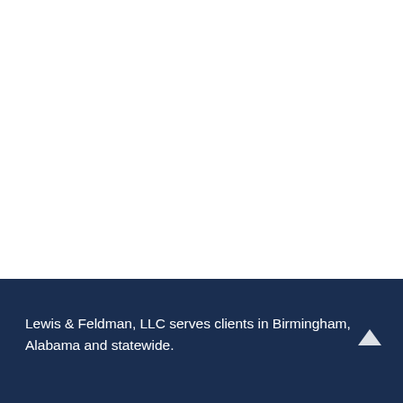Lewis & Feldman, LLC serves clients in Birmingham, Alabama and statewide.